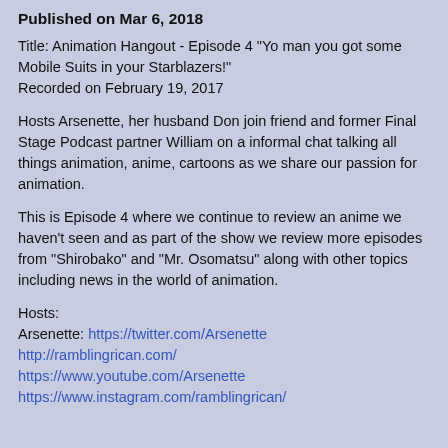Published on Mar 6, 2018
Title: Animation Hangout - Episode 4 "Yo man you got some Mobile Suits in your Starblazers!"
Recorded on February 19, 2017
Hosts Arsenette, her husband Don join friend and former Final Stage Podcast partner William on a informal chat talking all things animation, anime, cartoons as we share our passion for animation.
This is Episode 4 where we continue to review an anime we haven't seen and as part of the show we review more episodes from "Shirobako" and "Mr. Osomatsu" along with other topics including news in the world of animation.
Hosts:
Arsenette: https://twitter.com/Arsenette
http://ramblingrican.com/
https://www.youtube.com/Arsenette
https://www.instagram.com/ramblingrican/